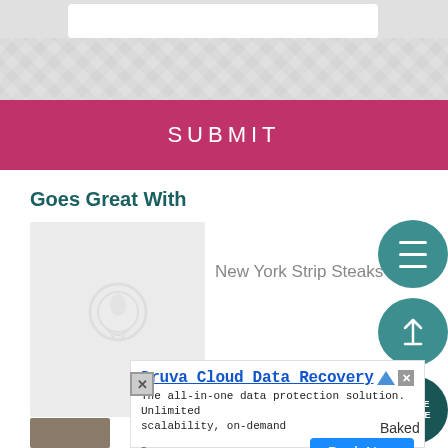[Figure (screenshot): Top grey area with a white rounded text input box and a patterned grey background strip]
[Figure (screenshot): Pink/crimson SUBMIT button with white spaced lettering]
Goes Great With
[Figure (photo): Food image placeholder with circular watermark icon on grey background — New York Strip Steaks]
New York Strip Steaks
[Figure (screenshot): Three teal circular UI buttons on the right: hamburger menu, scroll-to-top arrow, and SHARE & SAVE]
[Figure (screenshot): Ad overlay: Druva Cloud Data Recovery — The all-in-one data protection solution. Unlimited scalability, on-demand — Book Now button]
Baked